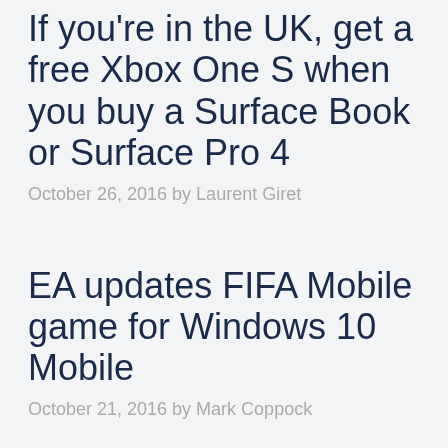If you're in the UK, get a free Xbox One S when you buy a Surface Book or Surface Pro 4
October 26, 2016 by Laurent Giret
EA updates FIFA Mobile game for Windows 10 Mobile
October 21, 2016 by Mark Coppock
FIFA 17 Mobile is now available